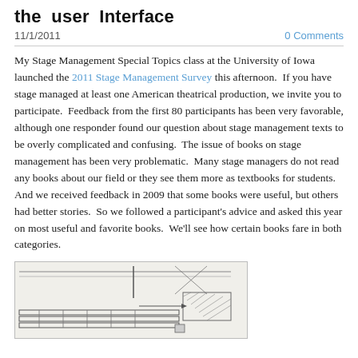the user Interface
11/1/2011
0 Comments
My Stage Management Special Topics class at the University of Iowa launched the 2011 Stage Management Survey this afternoon.  If you have stage managed at least one American theatrical production, we invite you to participate.  Feedback from the first 80 participants has been very favorable, although one responder found our question about stage management texts to be overly complicated and confusing.  The issue of books on stage management has been very problematic.  Many stage managers do not read any books about our field or they see them more as textbooks for students.  And we received feedback in 2009 that some books were useful, but others had better stories.  So we followed a participant's advice and asked this year on most useful and favorite books.  We'll see how certain books fare in both categories.
[Figure (illustration): Pencil sketch/engineering drawing of a stage management technical diagram showing structural elements, crosshatching, and architectural details.]